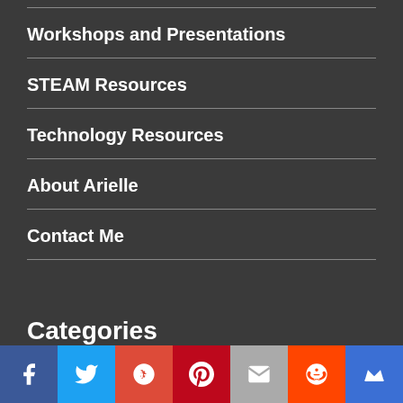Workshops and Presentations
STEAM Resources
Technology Resources
About Arielle
Contact Me
Categories
[Figure (infographic): Social media share bar with icons for Facebook, Twitter, Google+, Pinterest, Email, Reddit, and a crown/bookmark icon]